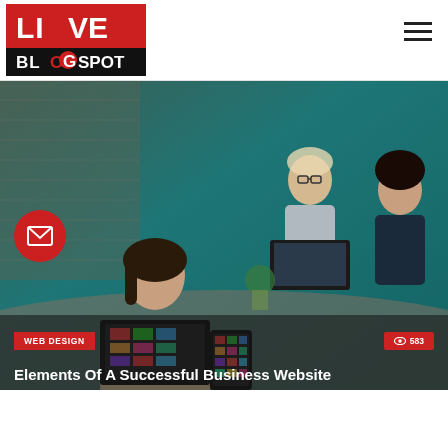[Figure (logo): LIVE BLOG SPOT logo — red rectangle with white LIVE text and chevron, black bar below with white BLOG SPOT text and red circle under O]
[Figure (photo): Office team working around a table with laptops, tablets, and design materials. Teal/cyan color overlay. A woman in foreground using phone and laptop with colorful UI on screen.]
WEB DESIGN
583
Elements Of A Successful Business Website